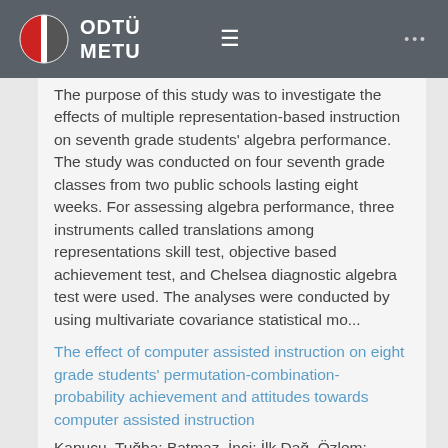ODTÜ METU
The purpose of this study was to investigate the effects of multiple representation-based instruction on seventh grade students' algebra performance. The study was conducted on four seventh grade classes from two public schools lasting eight weeks. For assessing algebra performance, three instruments called translations among representations skill test, objective based achievement test, and Chelsea diagnostic algebra test were used. The analyses were conducted by using multivariate covariance statistical mo...
The effect of computer assisted instruction on eight grade students' permutation-combination-probability achievement and attitudes towards computer assisted instruction
Kapucu, Tuğba; Batmaz, İnci; İlk Dağ, Özlem; Department of Statistics (2016)
The purpose of this study was to examine the effects of computer assisted instructional material prepared in R programme, on eight grade